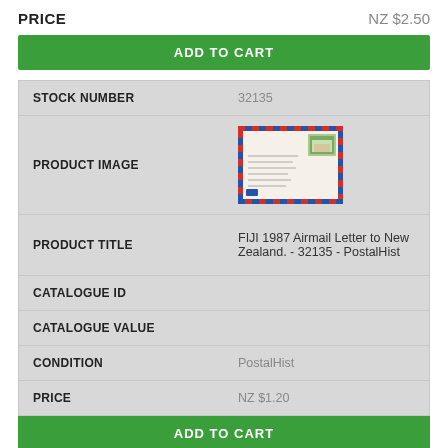PRICE   NZ $2.50
ADD TO CART
| Field | Value |
| --- | --- |
| STOCK NUMBER | 32135 |
| PRODUCT IMAGE | (envelope image) |
| PRODUCT TITLE | FIJI 1987 Airmail Letter to New Zealand. - 32135 - PostalHist |
| CATALOGUE ID |  |
| CATALOGUE VALUE |  |
| CONDITION | PostalHist |
| PRICE | NZ $1.20 |
ADD TO CART